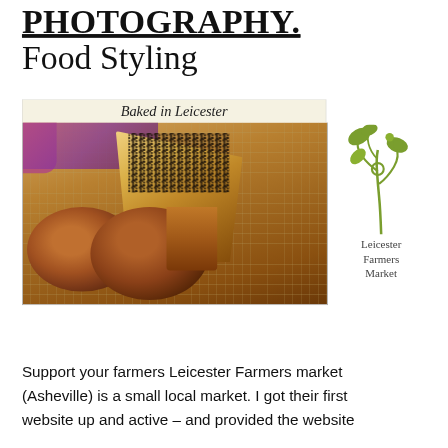PHOTOGRAPHY. Food Styling
[Figure (photo): Composite image showing 'Baked in Leicester' label above a photo of bread rolls and a loaf on a cooling rack, alongside the Leicester Farmers Market plant logo and text]
Support your farmers Leicester Farmers market (Asheville) is a small local market. I got their first website up and active – and provided the website